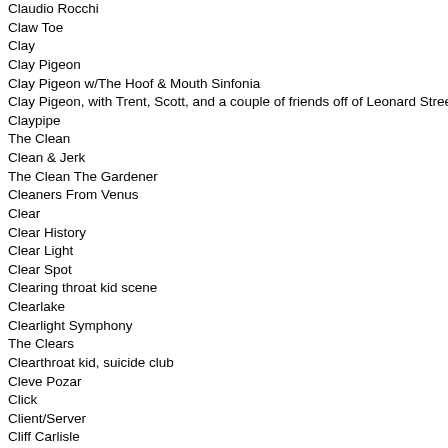Claudio Rocchi
Claw Toe
Clay
Clay Pigeon
Clay Pigeon w/The Hoof & Mouth Sinfonia
Clay Pigeon, with Trent, Scott, and a couple of friends off of Leonard Street
Claypipe
The Clean
Clean & Jerk
The Clean The Gardener
Cleaners From Venus
Clear
Clear History
Clear Light
Clear Spot
Clearing throat kid scene
Clearlake
Clearlight Symphony
The Clears
Clearthroat kid, suicide club
Cleve Pozar
Click
Client/Server
Cliff Carlisle
Cliff Edwards
Cliff Edwards, aka Ukelele Ike, aka Jiminy Cricket
Cliff Edwards (Ukulele Ike)
Cliffie Swan
Clifford Davis
Clifford Torus / Gaute Granli
Climax Blues Band
Climax Golden Twins
Clinic
Clint Blacklaw
Clinton Hensley
The Clintons
Clipd Beaks
Clipping